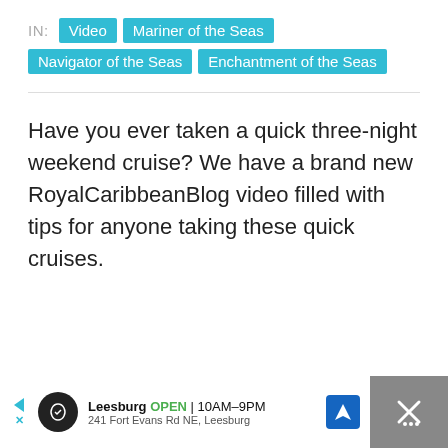IN: Video  Mariner of the Seas  Navigator of the Seas  Enchantment of the Seas
Have you ever taken a quick three-night weekend cruise? We have a brand new RoyalCaribbeanBlog video filled with tips for anyone taking these quick cruises.
[Figure (other): Advertisement bar at bottom: Leesburg OPEN 10AM-9PM, 241 Fort Evans Rd NE, Leesburg, with navigation icon and close button]